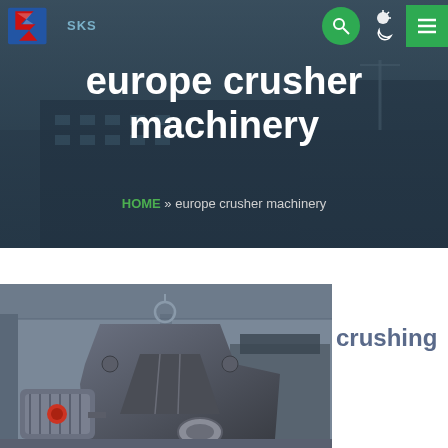[Figure (screenshot): SKS company logo with red S-shaped lightning bolt and blue square, with teal company name text]
[Figure (infographic): Navigation icons: green circle search icon, sun/moon theme toggle icon, green menu hamburger icon]
europe crusher machinery
HOME » europe crusher machinery
[Figure (photo): Industrial crushing machinery in a factory warehouse, showing a hammer crusher or impact crusher with electric motor, in grey/dark tones]
crushing